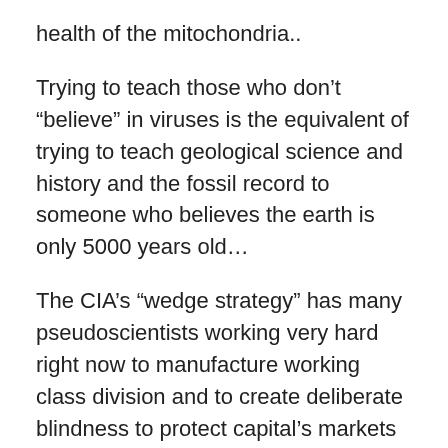health of the mitochondria..
Trying to teach those who don’t “believe” in viruses is the equivalent of trying to teach geological science and history and the fossil record to someone who believes the earth is only 5000 years old…
The CIA’s “wedge strategy” has many pseudoscientists working very hard right now to manufacture working class division and to create deliberate blindness to protect capital’s markets and their systems and technologies they’ve designed to enrich themselves and they are not actually intelligent at all. They lack the comprehensive foundation to even be considered “intelligent.”
The capital "Counci of Gods" as they called themselves during their WWII reign, have created hell for our children